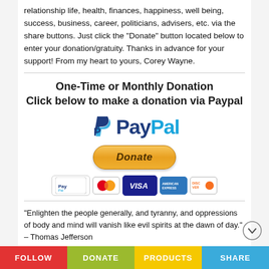relationship life, health, finances, happiness, well being, success, business, career, politicians, advisers, etc. via the share buttons. Just click the "Donate" button located below to enter your donation/gratuity. Thanks in advance for your support! From my heart to yours, Corey Wayne.
[Figure (logo): PayPal donation section with PayPal logo, Donate button, and payment card icons (PayPal, Mastercard, Visa, AmEx, Discover)]
"Enlighten the people generally, and tyranny, and oppressions of body and mind will vanish like evil spirits at the dawn of day." – Thomas Jefferson
FOLLOW   DONATE   PRODUCTS   SHARE